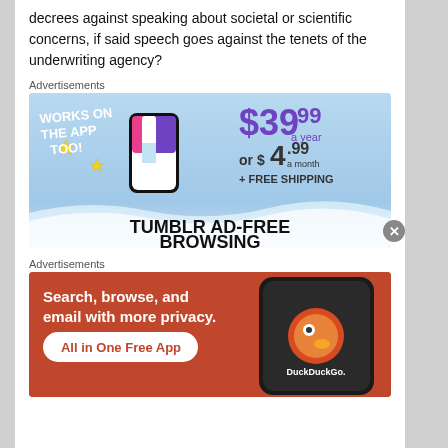decrees against speaking about societal or scientific concerns, if said speech goes against the tenets of the underwriting agency?
Advertisements
[Figure (illustration): Tumblr ad-free browsing advertisement. Sky blue background with Tumblr 't' logo in pink/purple/white 3D block letters, yellow sparkle stars. Text: WORKS ON THE APP TOO! $39.99 a year or $4.99 a month + FREE SHIPPING. TUMBLR AD-FREE BROWSING at bottom.]
Advertisements
[Figure (illustration): DuckDuckGo advertisement on orange/red background. Text: Search, browse, and email with more privacy. All in One Free App. Shows a phone with DuckDuckGo logo on screen.]